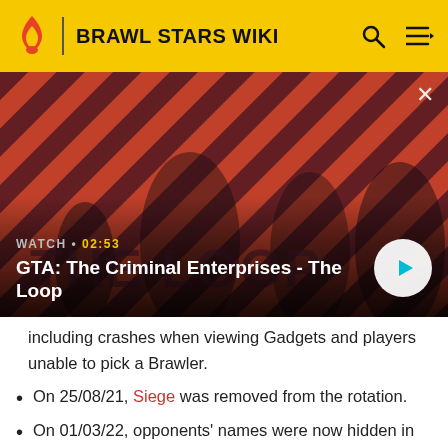BRAWL STARS WIKI
[Figure (screenshot): GTA: The Criminal Enterprises - The Loop video thumbnail with four characters on a red/black diagonal striped background. Shows WATCH • 02:53 label and a play button.]
including crashes when viewing Gadgets and players unable to pick a Brawler.
On 25/08/21, Siege was removed from the rotation.
On 01/03/22, opponents' names were now hidden in Mythic I and above and replaced by "Red 1", "Red 2"